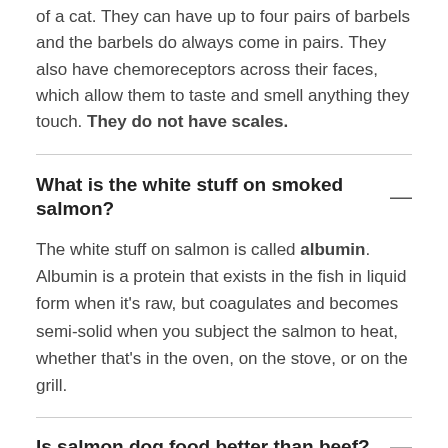catfish are names for the barbels that resemble the whiskers of a cat. They can have up to four pairs of barbels and the barbels do always come in pairs. They also have chemoreceptors across their faces, which allow them to taste and smell anything they touch. They do not have scales.
What is the white stuff on smoked salmon?
The white stuff on salmon is called albumin. Albumin is a protein that exists in the fish in liquid form when it's raw, but coagulates and becomes semi-solid when you subject the salmon to heat, whether that's in the oven, on the stove, or on the grill.
Is salmon dog food better than beef?